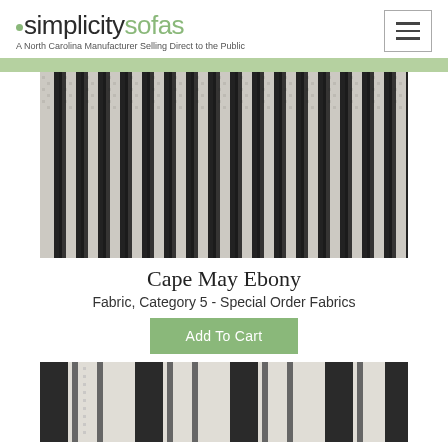[Figure (logo): Simplicity Sofas logo with green dot and tagline 'A North Carolina Manufacturer Selling Direct to the Public']
[Figure (other): Hamburger menu icon button]
[Figure (photo): Close-up photo of Cape May Ebony fabric showing black and white vertical stripe woven texture]
Cape May Ebony
Fabric, Category 5 - Special Order Fabrics
Add To Cart
[Figure (photo): Close-up photo of a second fabric swatch showing black, gray, and tan vertical stripes on a light woven background]